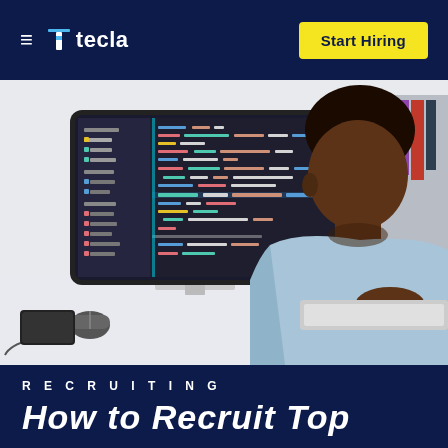≡ tecla | Start Hiring
[Figure (photo): A man sitting at a desk viewed from behind/side, looking at a large monitor displaying colorful code in a dark IDE. A keyboard and mouse are on the desk. Background shows a bright room with shelves.]
RECRUITING
How to Recruit Top...